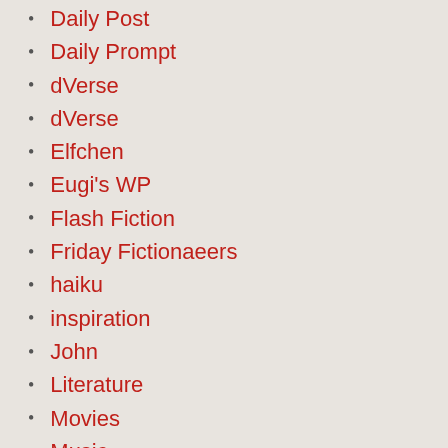Daily Post
Daily Prompt
dVerse
dVerse
Elfchen
Eugi's WP
Flash Fiction
Friday Fictionaeers
haiku
inspiration
John
Literature
Movies
Music
Musings
Narnia